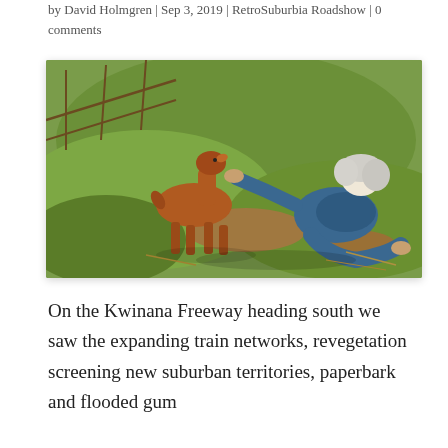by David Holmgren | Sep 3, 2019 | RetroSuburbia Roadshow | 0 comments
[Figure (photo): A person with white/grey hair crouching down on grass reaching out to touch/pet a young brown/reddish goat kid. There is a wire fence visible in the background. The scene is outdoors on green grass with some bare patches.]
On the Kwinana Freeway heading south we saw the expanding train networks, revegetation screening new suburban territories, paperbark and flooded gum